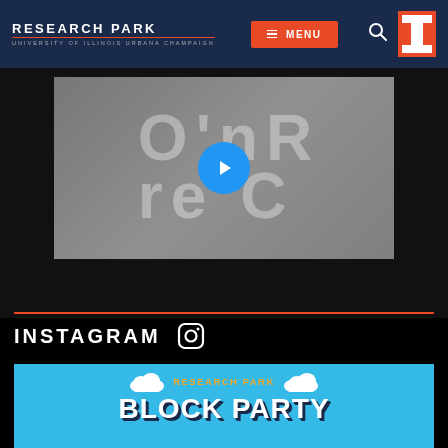RESEARCH PARK — UNIVERSITY OF ILLINOIS URBANA CHAMPAIGN — MENU
[Figure (screenshot): Video thumbnail with faded crowd image showing large letters O, n, R, e, C overlaid; a blue circular play button in the center]
INSTAGRAM
[Figure (photo): Research Park Block Party promotional image on blue background with cloud illustrations, orange 'RESEARCH PARK' text, and large white 'BLOCK PARTY' text]